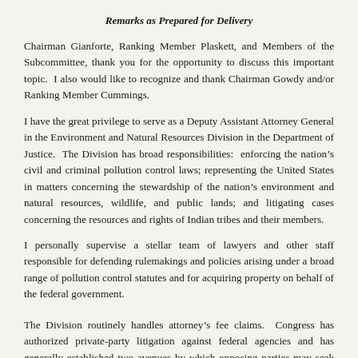Remarks as Prepared for Delivery
Chairman Gianforte, Ranking Member Plaskett, and Members of the Subcommittee, thank you for the opportunity to discuss this important topic.  I also would like to recognize and thank Chairman Gowdy and/or Ranking Member Cummings.
I have the great privilege to serve as a Deputy Assistant Attorney General in the Environment and Natural Resources Division in the Department of Justice.  The Division has broad responsibilities:  enforcing the nation's civil and criminal pollution control laws; representing the United States in matters concerning the stewardship of the nation's environment and natural resources, wildlife, and public lands; and litigating cases concerning the resources and rights of Indian tribes and their members.
I personally supervise a stellar team of lawyers and other staff responsible for defending rulemakings and policies arising under a broad range of pollution control statutes and for acquiring property on behalf of the federal government.
The Division routinely handles attorney's fee claims.  Congress has authorized private-party litigation against federal agencies and has generally established two avenues by which opposing parties may seek the payment of attorney's fees through taxpayer dollars in our cases.
First, the citizen suit and judicial review provisions in most environmental